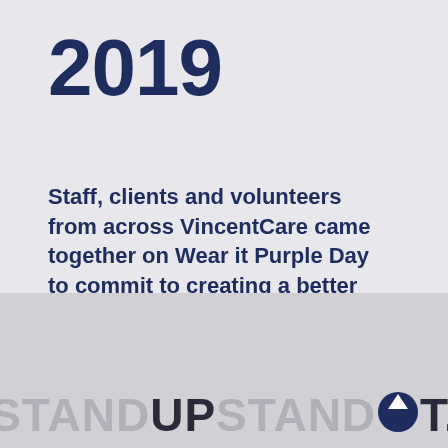2019
Staff, clients and volunteers from across VincentCare came together on Wear it Purple Day to commit to creating a better world for LGBTIQ youth.
[Figure (logo): Bottom banner area with stylized text reading STANDUPSTANDOUT with a circular arrow-up icon replacing the O in STANDOUT, on a grey textured background]